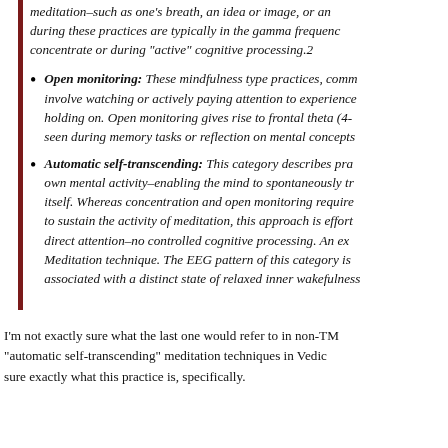meditation–such as one's breath, an idea or image, or an during these practices are typically in the gamma frequenc concentrate or during "active" cognitive processing.2
Open monitoring: These mindfulness type practices, comm involve watching or actively paying attention to experience holding on. Open monitoring gives rise to frontal theta (4- seen during memory tasks or reflection on mental concepts
Automatic self-transcending: This category describes pra own mental activity–enabling the mind to spontaneously tr itself. Whereas concentration and open monitoring require to sustain the activity of meditation, this approach is effort direct attention–no controlled cognitive processing. An exc Meditation technique. The EEG pattern of this category is associated with a distinct state of relaxed inner wakefulness
I'm not exactly sure what the last one would refer to in non-TM "automatic self-transcending" meditation techniques in Vedic sure exactly what this practice is, specifically.